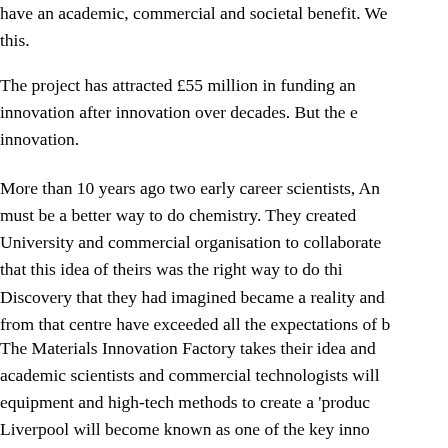have an academic, commercial and societal benefit. We this.
The project has attracted £55 million in funding an innovation after innovation over decades. But the e innovation.
More than 10 years ago two early career scientists, An must be a better way to do chemistry. They created University and commercial organisation to collaborate that this idea of theirs was the right way to do thi Discovery that they had imagined became a reality and from that centre have exceeded all the expectations of b
The Materials Innovation Factory takes their idea and academic scientists and commercial technologists will equipment and high-tech methods to create a 'produc Liverpool will become known as one of the key inno perhaps the World.